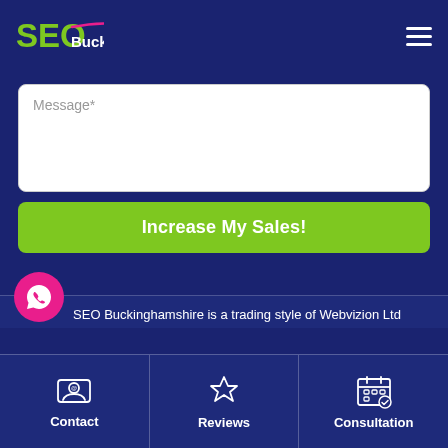[Figure (logo): SEO Buckinghamshire logo with green SEO text and white Buckinghamshire text, pink arc decoration]
[Figure (other): Hamburger menu icon (three white horizontal lines)]
Message*
Increase My Sales!
SEO Buckinghamshire is a trading style of Webvizion Ltd
[Figure (other): WhatsApp icon in pink circle bubble]
Contact
Reviews
Consultation